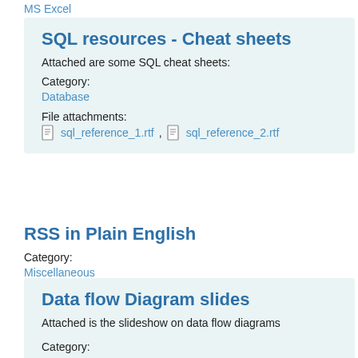MS Excel
SQL resources - Cheat sheets
Attached are some SQL cheat sheets:
Category:
Database
File attachments:
sql_reference_1.rtf, sql_reference_2.rtf
RSS in Plain English
Category:
Miscellaneous
Data flow Diagram slides
Attached is the slideshow on data flow diagrams
Category: